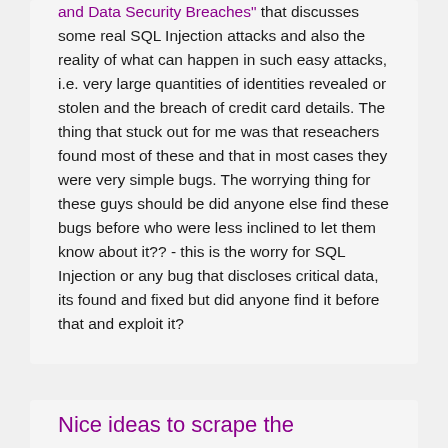and Data Security Breaches" that discusses some real SQL Injection attacks and also the reality of what can happen in such easy attacks, i.e. very large quantities of identities revealed or stolen and the breach of credit card details. The thing that stuck out for me was that reseachers found most of these and that in most cases they were very simple bugs. The worrying thing for these guys should be did anyone else find these bugs before who were less inclined to let them know about it?? - this is the worry for SQL Injection or any bug that discloses critical data, its found and fixed but did anyone find it before that and exploit it?
Nice ideas to scrape the